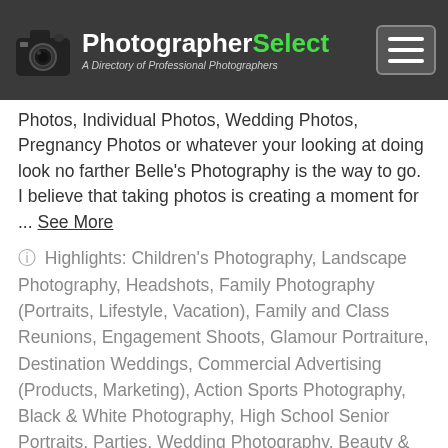PhotographerSelect — A Directory of Professional Photographers
Photos, Individual Photos, Wedding Photos, Pregnancy Photos or whatever your looking at doing look no farther Belle's Photography is the way to go. I believe that taking photos is creating a moment for ... See More
⑦ Highlights: Children's Photography, Landscape Photography, Headshots, Family Photography (Portraits, Lifestyle, Vacation), Family and Class Reunions, Engagement Shoots, Glamour Portraiture, Destination Weddings, Commercial Advertising (Products, Marketing), Action Sports Photography, Black & White Photography, High School Senior Portraits, Parties, Wedding Photography, Beauty & Fashion Photography, Canvas Prints, Studio Sessions, Bridal Photos, Portraits, Modeling Portfolio & Headshots